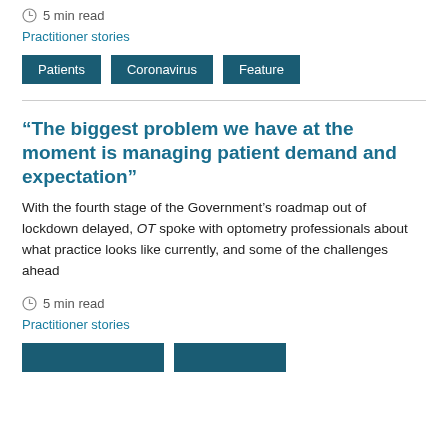5 min read
Practitioner stories
Patients
Coronavirus
Feature
“The biggest problem we have at the moment is managing patient demand and expectation”
With the fourth stage of the Government’s roadmap out of lockdown delayed, OT spoke with optometry professionals about what practice looks like currently, and some of the challenges ahead
5 min read
Practitioner stories